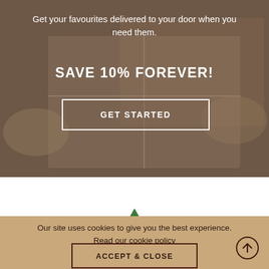[Figure (photo): Hands holding a wrapped brown cardboard gift box against a warm brown/taupe background. The image is overlaid with a semi-transparent dark tint.]
Get your favourites delivered to your door when you need them.
SAVE 10% FOREVER!
GET STARTED
[Figure (illustration): Small green Christmas tree icon at the bottom of the white section, partially visible.]
Our site uses cookies to give you the best experience. Read our cookie policy
ACCEPT & CLOSE